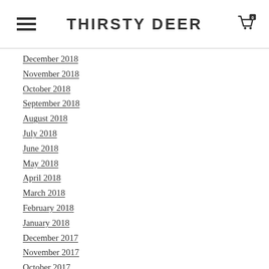THIRSTY DEER
December 2018
November 2018
October 2018
September 2018
August 2018
July 2018
June 2018
May 2018
April 2018
March 2018
February 2018
January 2018
December 2017
November 2017
October 2017
September 2017
August 2017
July 2017
June 2017